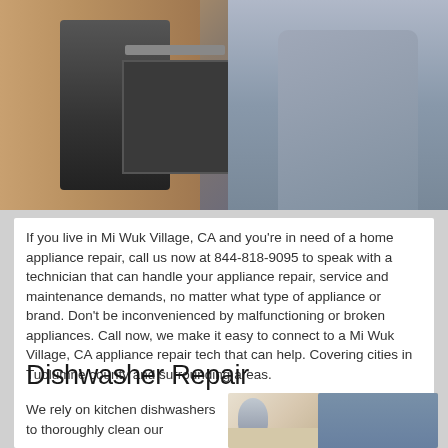[Figure (photo): Photo of kitchen appliances including an oven/dishwasher installation with a technician in the background wearing a grey shirt]
If you live in Mi Wuk Village, CA and you're in need of a home appliance repair, call us now at 844-818-9095 to speak with a technician that can handle your appliance repair, service and maintenance demands, no matter what type of appliance or brand. Don't be inconvenienced by malfunctioning or broken appliances. Call now, we make it easy to connect to a Mi Wuk Village, CA appliance repair tech that can help. Covering cities in Tuolumne county and surrounding areas.
Dishwasher Repair
We rely on kitchen dishwashers to thoroughly clean our
[Figure (photo): Photo of a technician working on a dishwasher in a kitchen, with a kettle visible on the counter]